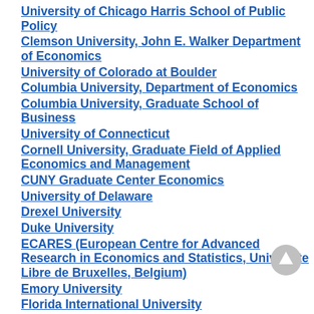University of Chicago Harris School of Public Policy
Clemson University, John E. Walker Department of Economics
University of Colorado at Boulder
Columbia University, Department of Economics
Columbia University, Graduate School of Business
University of Connecticut
Cornell University, Graduate Field of Applied Economics and Management
CUNY Graduate Center Economics
University of Delaware
Drexel University
Duke University
ECARES (European Centre for Advanced Research in Economics and Statistics, Universite Libre de Bruxelles, Belgium)
Emory University
Florida International University